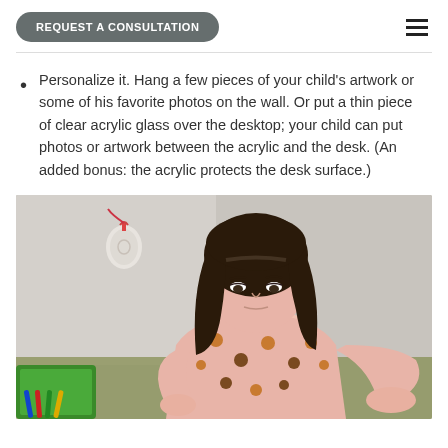REQUEST A CONSULTATION
Personalize it. Hang a few pieces of your child's artwork or some of his favorite photos on the wall. Or put a thin piece of clear acrylic glass over the desktop; your child can put photos or artwork between the acrylic and the desk. (An added bonus: the acrylic protects the desk surface.)
[Figure (photo): A young girl with dark hair wearing a pink polka-dot shirt, leaning over a desk and writing or drawing. A green tablet and markers are visible in the lower left. A decorative ornament hangs on the wall behind her.]